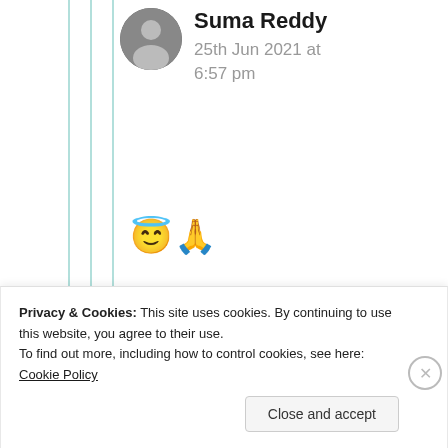[Figure (photo): Round avatar photo of a person (Suma Reddy), cropped to circle]
Suma Reddy
25th Jun 2021 at 6:57 pm
😇🙏
★ Liked by 1 person
Advertisements
AUTOMATTIC
Build a better web and a better world.
REPORT THIS AD
Privacy & Cookies: This site uses cookies. By continuing to use this website, you agree to their use.
To find out more, including how to control cookies, see here: Cookie Policy
Close and accept